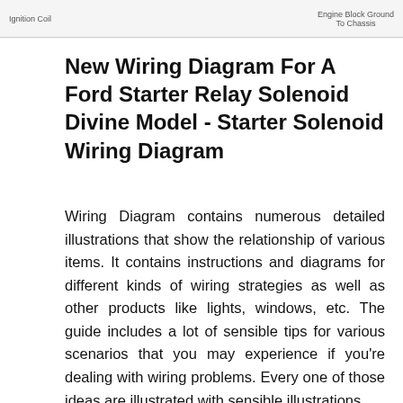[Figure (engineering-diagram): Partial wiring diagram snippet showing labels including 'Engine Block Ground To Chassis' on the right side and a partial label on the left side, cropped at the top of the page.]
New Wiring Diagram For A Ford Starter Relay Solenoid Divine Model - Starter Solenoid Wiring Diagram
Wiring Diagram contains numerous detailed illustrations that show the relationship of various items. It contains instructions and diagrams for different kinds of wiring strategies as well as other products like lights, windows, etc. The guide includes a lot of sensible tips for various scenarios that you may experience if you're dealing with wiring problems. Every one of those ideas are illustrated with sensible illustrations.